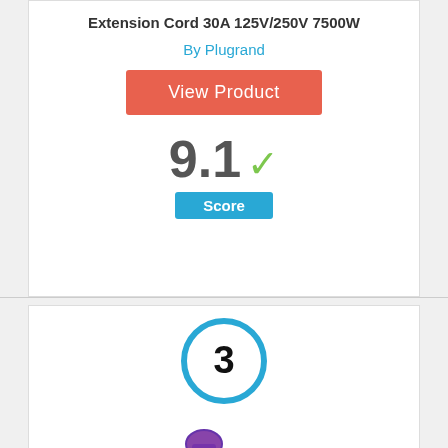Extension Cord 30A 125V/250V 7500W
By Plugrand
View Product
9.1 ✓ Score
[Figure (infographic): Circle badge with number 3 inside, styled with a thick blue border]
[Figure (photo): Photo of a black extension cord coiled with a purple connector plug]